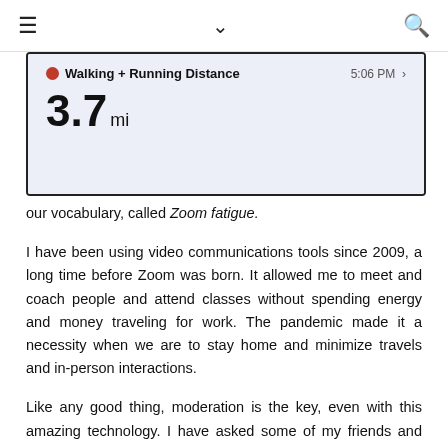≡  ∨  🔍
[Figure (screenshot): Mobile app screenshot showing Walking + Running Distance of 3.7 mi at 5:06 PM]
our vocabulary, called Zoom fatigue.
I have been using video communications tools since 2009, a long time before Zoom was born. It allowed me to meet and coach people and attend classes without spending energy and money traveling for work. The pandemic made it a necessity when we are to stay home and minimize travels and in-person interactions.
Like any good thing, moderation is the key, even with this amazing technology. I have asked some of my friends and colleagues how they maintain a healthy Zoom-life balance.